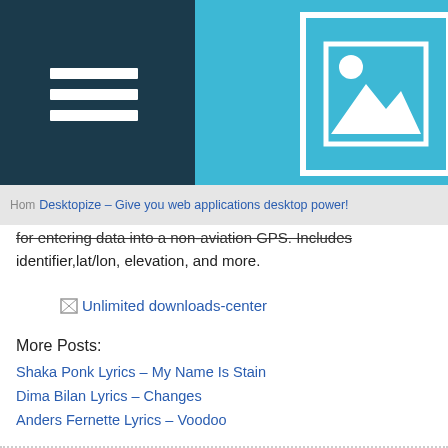[Figure (screenshot): Website header with dark navy left panel containing hamburger menu icon and light blue right panel containing an image placeholder logo icon]
Desktopize – Give you web applications desktop power!
for entering data into a non-aviation GPS. Includes identifier,lat/lon, elevation, and more.
[Figure (other): Unlimited downloads-center image placeholder with broken image icon]
More Posts:
Shaka Ponk Lyrics – My Name Is Stain
Dima Bilan Lyrics – Changes
Keith Sweat Lyrics – To The Middle (feat. T-Pain)
Anders Fernette Lyrics – Voodoo
Clover Black Lyrics – Cloverblack-Cb.Vv-Escalator Music Pt 2 (Feat. Lil Mz. Clov